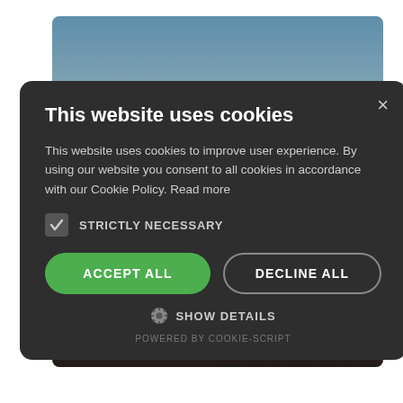[Figure (photo): Background photo of a person silhouetted against a sunset/dusk sky, standing on what appears to be a rooftop or elevated surface. Orange text 'd trial' visible on the right side.]
This website uses cookies
This website uses cookies to improve user experience. By using our website you consent to all cookies in accordance with our Cookie Policy. Read more
STRICTLY NECESSARY
ACCEPT ALL
DECLINE ALL
SHOW DETAILS
POWERED BY COOKIE-SCRIPT